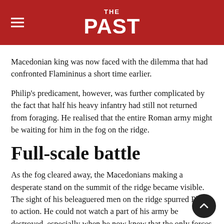THE PAST
Macedonian king was now faced with the dilemma that had confronted Flamininus a short time earlier.
Philip's predicament, however, was further complicated by the fact that half his heavy infantry had still not returned from foraging. He realised that the entire Roman army might be waiting for him in the fog on the ridge.
Full-scale battle
As the fog cleared away, the Macedonians making a desperate stand on the summit of the ridge became visible. The sight of his beleaguered men on the ridge spurred Philip to action. He could not watch a part of his army be destroyed, especially when he now knew that the only forces involved were Roman light infantry and cavalry.